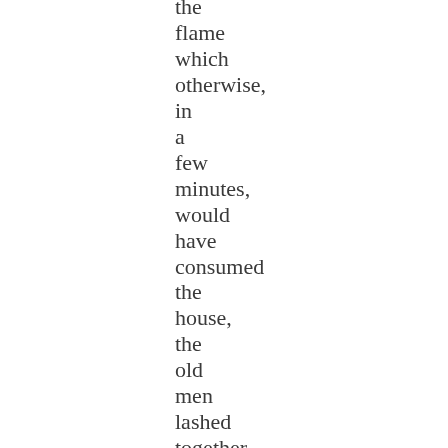the flame which otherwise, in a few minutes, would have consumed the house, the old men lashed together and the